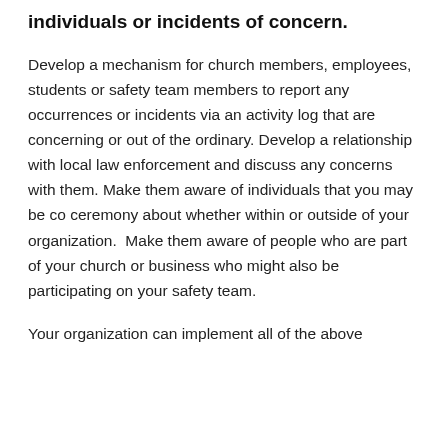individuals or incidents of concern.
Develop a mechanism for church members, employees, students or safety team members to report any occurrences or incidents via an activity log that are concerning or out of the ordinary. Develop a relationship with local law enforcement and discuss any concerns with them. Make them aware of individuals that you may be co ceremony about whether within or outside of your organization.  Make them aware of people who are part of your church or business who might also be participating on your safety team.
Your organization can implement all of the above